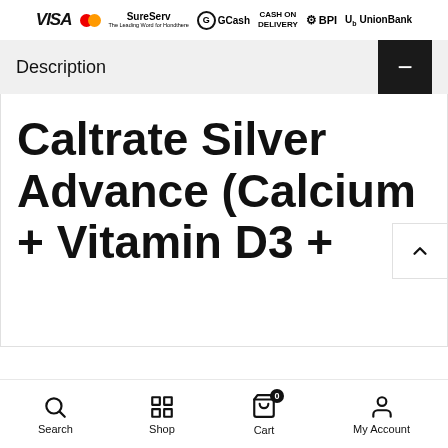[Figure (logo): Payment method logos: VISA, Mastercard, SureServ, GCash, Cash on Delivery, BPI, UnionBank]
Description
Caltrate Silver Advance (Calcium + Vitamin D3 +
Search  Shop  Cart (0)  My Account